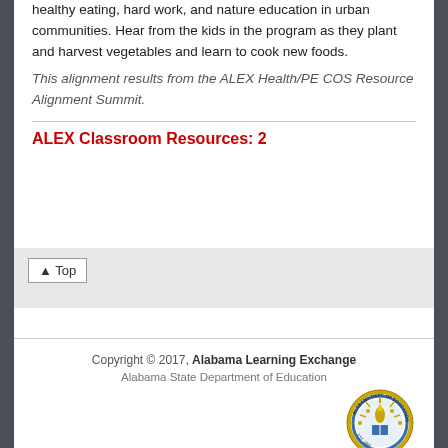healthy eating, hard work, and nature education in urban communities. Hear from the kids in the program as they plant and harvest vegetables and learn to cook new foods.
This alignment results from the ALEX Health/PE COS Resource Alignment Summit.
ALEX Classroom Resources: 2
▲ Top
Copyright © 2017, Alabama Learning Exchange
Alabama State Department of Education